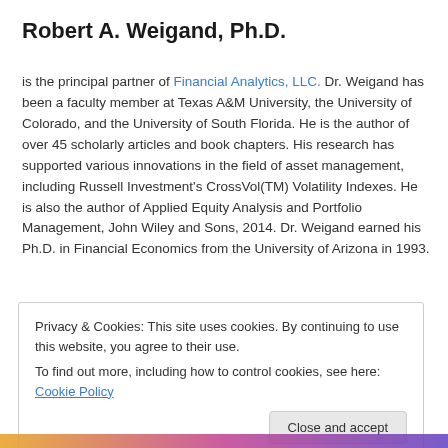Robert A. Weigand, Ph.D.
is the principal partner of Financial Analytics, LLC. Dr. Weigand has been a faculty member at Texas A&M University, the University of Colorado, and the University of South Florida. He is the author of over 45 scholarly articles and book chapters. His research has supported various innovations in the field of asset management, including Russell Investment's CrossVol(TM) Volatility Indexes. He is also the author of Applied Equity Analysis and Portfolio Management, John Wiley and Sons, 2014. Dr. Weigand earned his Ph.D. in Financial Economics from the University of Arizona in 1993.
Privacy & Cookies: This site uses cookies. By continuing to use this website, you agree to their use.
To find out more, including how to control cookies, see here: Cookie Policy